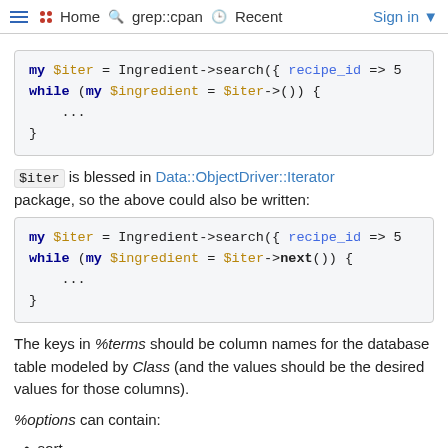Home   grep::cpan   Recent   Sign in
my $iter = Ingredient->search({ recipe_id => 5
while (my $ingredient = $iter->()) {
    ...
}
$iter is blessed in Data::ObjectDriver::Iterator package, so the above could also be written:
my $iter = Ingredient->search({ recipe_id => 5
while (my $ingredient = $iter->next()) {
    ...
}
The keys in %terms should be column names for the database table modeled by Class (and the values should be the desired values for those columns).
%options can contain:
sort